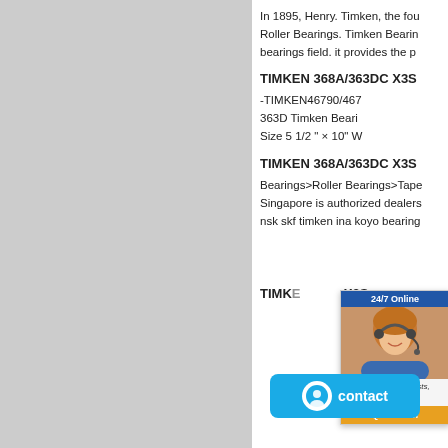In 1895, Henry. Timken, the founder of Roller Bearings. Timken Bearings bearings field. it provides the p...
TIMKEN 368A/363DC X3S
-TIMKEN46790/467...
363D Timken Beari...
Size 5 1/2 " × 10" W...
TIMKEN 368A/363DC X3S
Bearings>Roller Bearings>Tape...
Singapore is authorized dealers...
nsk skf timken ina koyo bearing...
[Figure (photo): 24/7 Online customer support widget with a woman wearing a headset]
TIMKEN ...X3S
[Figure (infographic): Blue contact button with smiley face icon and text 'contact']